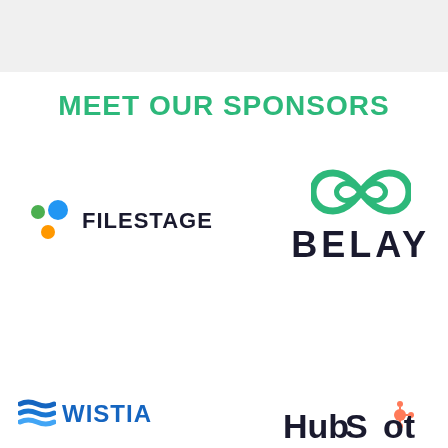MEET OUR SPONSORS
[Figure (logo): Filestage logo: three colored dots (blue, green, orange) followed by bold text 'FILESTAGE']
[Figure (logo): Belay logo: green infinity/loop symbol above bold dark text 'BELAY']
[Figure (logo): Wistia logo: blue layered wave/chevron icon followed by bold blue text 'WISTIA']
[Figure (logo): HubSpot logo: dark bold text 'HubSpot' with orange sprocket icon above the 'o']